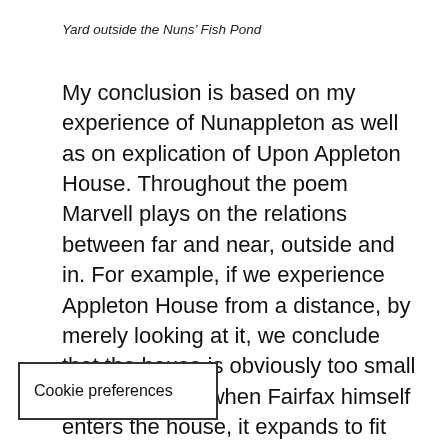Yard outside the Nuns' Fish Pond
My conclusion is based on my experience of Nunappleton as well as on explication of Upon Appleton House. Throughout the poem Marvell plays on the relations between far and near, outside and in. For example, if we experience Appleton House from a distance, by merely looking at it, we conclude that the house is obviously too small for Fairfax; yet when Fairfax himself enters the house, it expands to fit him. In the meadows, large becomes small and small becomes large, as the poet is far from the mowing, then magically near: “Men like Grashoppers appear / But Grashoppers are [Giants there”] whereas the poet immersed [in the en]gulfing grass, when the “Tawny
Cookie preferences